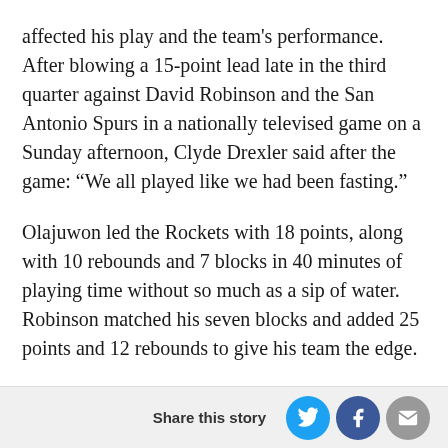affected his play and the team's performance. After blowing a 15-point lead late in the third quarter against David Robinson and the San Antonio Spurs in a nationally televised game on a Sunday afternoon, Clyde Drexler said after the game: “We all played like we had been fasting.”
Olajuwon led the Rockets with 18 points, along with 10 rebounds and 7 blocks in 40 minutes of playing time without so much as a sip of water. Robinson matched his seven blocks and added 25 points and 12 rebounds to give his team the edge.
After the game, the Chronicle’s Dale Robertson wrote that “to deny Ramadan depletes his strength and endurance is to ignore the obvious.” The next day, on the second game of a back-to-back, after playing 40
Share this story